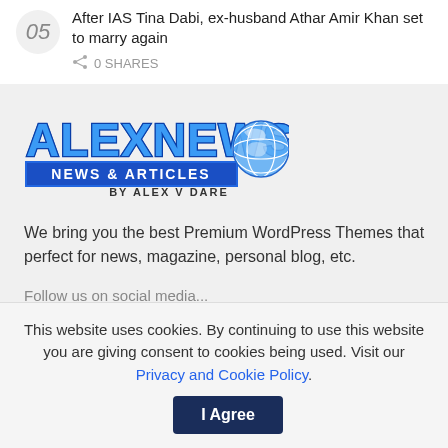05 After IAS Tina Dabi, ex-husband Athar Amir Khan set to marry again
0 SHARES
[Figure (logo): AlexNews logo with globe icon — 'ALEXNEWS NEWS & ARTICLES BY ALEX V DARE']
We bring you the best Premium WordPress Themes that perfect for news, magazine, personal blog, etc.
Follow...
This website uses cookies. By continuing to use this website you are giving consent to cookies being used. Visit our Privacy and Cookie Policy.
I Agree